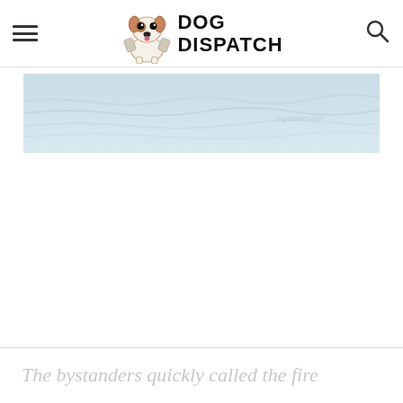DOG DISPATCH
[Figure (photo): Light blue water surface / ocean background, faded and washed out]
The bystanders quickly called the fire